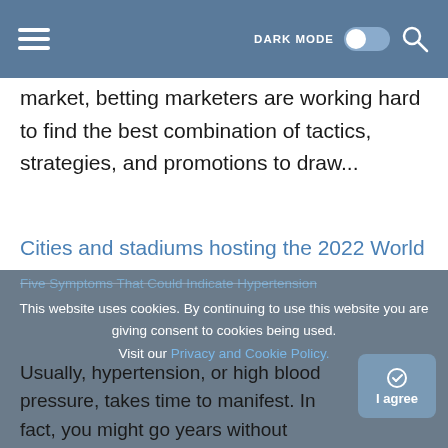DARK MODE [toggle] [search]
market, betting marketers are working hard to find the best combination of tactics, strategies, and promotions to draw...
Cities and stadiums hosting the 2022 World Cup In Qatar
Qatar will host the FIFA World Cup at the end of 2022. The five cities that will host the 2022 World Cup and the eight stadiums where' it will...
Five Symptoms That Could Indicate Hypertension
Usually, hypertension, or high blood pressure, takes time to manifest. In fact, you might go years without
This website uses cookies. By continuing to use this website you are giving consent to cookies being used. Visit our Privacy and Cookie Policy.